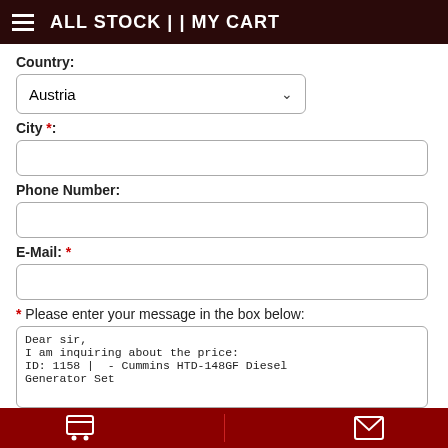ALL STOCK | | MY CART
Country:
Austria (dropdown selected)
City *:
Phone Number:
E-Mail: *
* Please enter your message in the box below:
Dear sir,
I am inquiring about the price:
ID: 1158 |  - Cummins HTD-148GF Diesel Generator Set
Cart | Contact icons